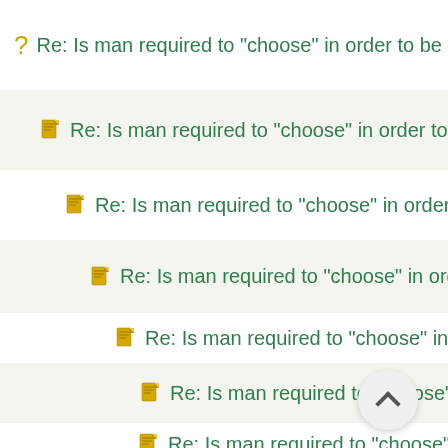Re: Is man required to "choose" in order to be saved?
Re: Is man required to "choose" in order to be saved?
Re: Is man required to "choose" in order to be saved?
Re: Is man required to "choose" in order to be saved?
Re: Is man required to "choose" in order to be saved?
Re: Is man required to "choose" in order to be saved?
Re: Is man required to "choose" in order to be saved?
Re: Is man required to "choose" in order to be saved?
Re: Is man required to "choose" in order to be saved?
Re: Is man required to "choose" in order to be saved?